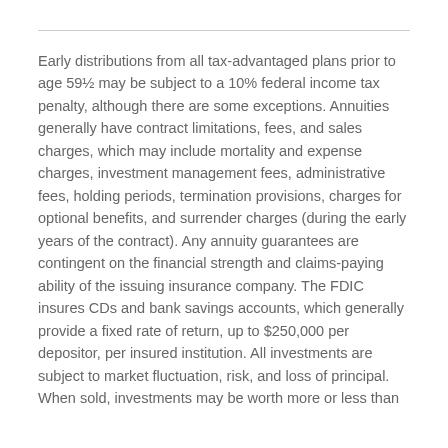Early distributions from all tax-advantaged plans prior to age 59½ may be subject to a 10% federal income tax penalty, although there are some exceptions. Annuities generally have contract limitations, fees, and sales charges, which may include mortality and expense charges, investment management fees, administrative fees, holding periods, termination provisions, charges for optional benefits, and surrender charges (during the early years of the contract). Any annuity guarantees are contingent on the financial strength and claims-paying ability of the issuing insurance company. The FDIC insures CDs and bank savings accounts, which generally provide a fixed rate of return, up to $250,000 per depositor, per insured institution. All investments are subject to market fluctuation, risk, and loss of principal. When sold, investments may be worth more or less than